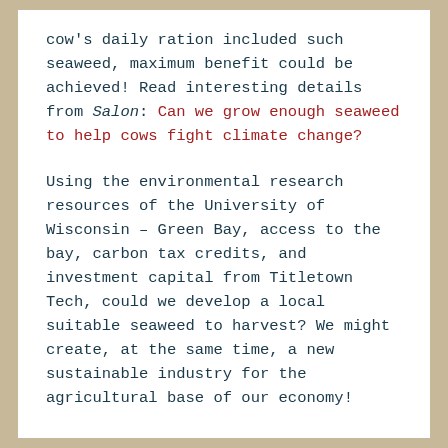cow's daily ration included such seaweed, maximum benefit could be achieved! Read interesting details from Salon: Can we grow enough seaweed to help cows fight climate change?
Using the environmental research resources of the University of Wisconsin – Green Bay, access to the bay, carbon tax credits, and investment capital from Titletown Tech, could we develop a local suitable seaweed to harvest? We might create, at the same time, a new sustainable industry for the agricultural base of our economy!